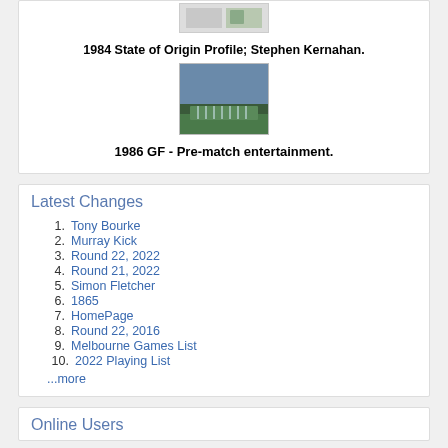[Figure (photo): Small thumbnail photo at top of card]
1984 State of Origin Profile; Stephen Kernahan.
[Figure (photo): Group photo of football team on field - 1986 GF pre-match entertainment]
1986 GF - Pre-match entertainment.
Latest Changes
Tony Bourke
Murray Kick
Round 22, 2022
Round 21, 2022
Simon Fletcher
1865
HomePage
Round 22, 2016
Melbourne Games List
2022 Playing List
...more
Online Users